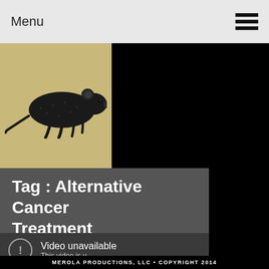Menu
[Figure (illustration): Vintage black rat illustration on tan/khaki background]
Tag : Alternative Cancer Treatment
Video unavailable
This video is u...
MEROLA PRODUCTIONS, LLC • COPYRIGHT 2014